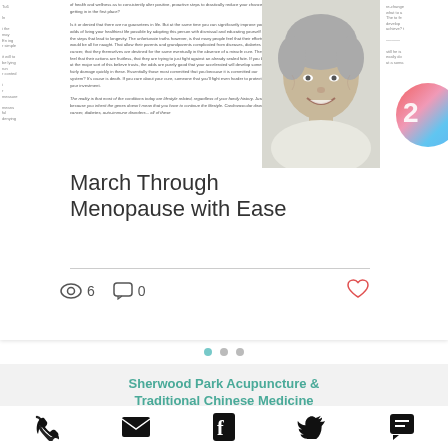Sidebar left: small article preview text
Sidebar right: small article preview text
Article body text about health and wellness (small/blurred)
[Figure (photo): Smiling middle-aged woman with short curly grey hair on white background]
March Through Menopause with Ease
6 views · 0 comments · like
Pagination dots
Sherwood Park Acupuncture & Traditional Chinese Medicine
[Figure (other): Contact icon bar: phone, email, facebook, twitter, chat]
[Figure (other): Book appointment button (teal/green)]